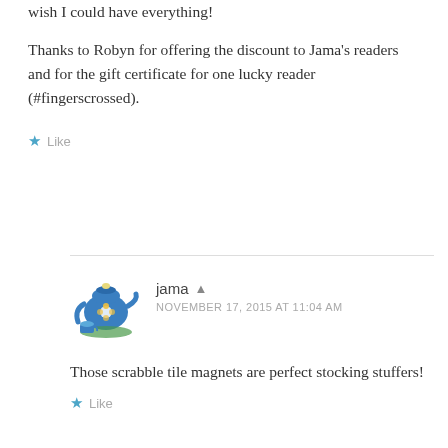wish I could have everything!
Thanks to Robyn for offering the discount to Jama's readers and for the gift certificate for one lucky reader (#fingerscrossed).
★ Like
[Figure (illustration): Blue teapot with flower design and small blue teacup on green surface]
jama ▲ NOVEMBER 17, 2015 AT 11:04 AM
Those scrabble tile magnets are perfect stocking stuffers!
★ Like